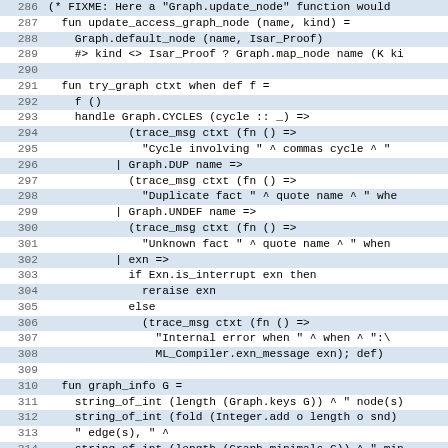[Figure (screenshot): Source code listing in a monospaced font showing ML/SML code lines 286-317, with alternating highlighted lines for even-numbered lines. Code includes functions update_access_graph_node, try_graph, graph_info, and a type definition mash_state.]